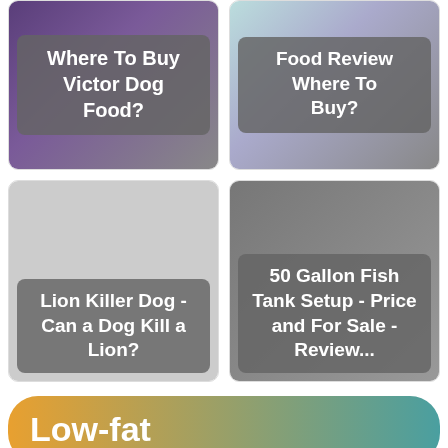[Figure (illustration): Card with purple dog food bag image and text overlay 'Where To Buy Victor Dog Food?']
[Figure (illustration): Card with blue/teal food bag image and text overlay 'Food Review Where To Buy?']
[Figure (illustration): Card with gray background and text overlay 'Lion Killer Dog - Can a Dog Kill a Lion?']
[Figure (illustration): Card with gray background and text overlay '50 Gallon Fish Tank Setup - Price and For Sale - Review...']
Low-fat
Low-fat sports blend dog food contains a high proportion of protein